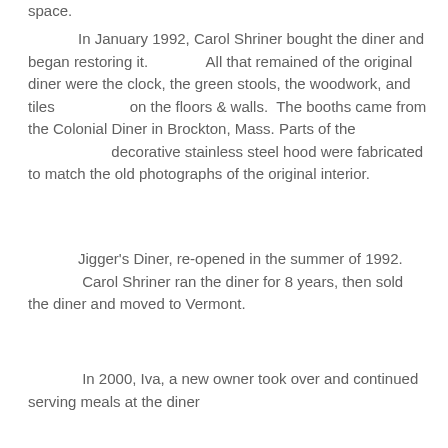space.
In January 1992, Carol Shriner bought the diner and began restoring it. All that remained of the original diner were the clock, the green stools, the woodwork, and tiles on the floors & walls. The booths came from the Colonial Diner in Brockton, Mass. Parts of the decorative stainless steel hood were fabricated to match the old photographs of the original interior.
Jigger's Diner, re-opened in the summer of 1992. Carol Shriner ran the diner for 8 years, then sold the diner and moved to Vermont.
In 2000, Iva, a new owner took over and continued serving meals at the diner